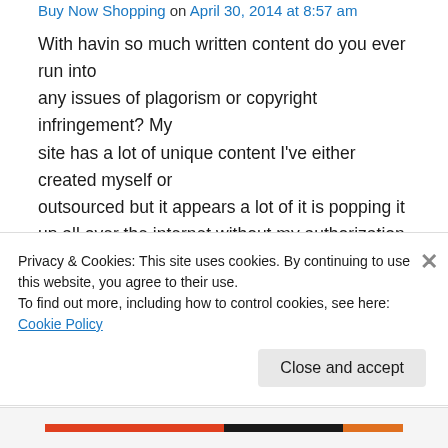Buy Now Shopping on April 30, 2014 at 8:57 am
With havin so much written content do you ever run into any issues of plagorism or copyright infringement? My site has a lot of unique content I've either created myself or outsourced but it appears a lot of it is popping it up all over the internet without my authorization. Do you know any solutions to help prevent content from being stolen?
Privacy & Cookies: This site uses cookies. By continuing to use this website, you agree to their use.
To find out more, including how to control cookies, see here: Cookie Policy
Close and accept